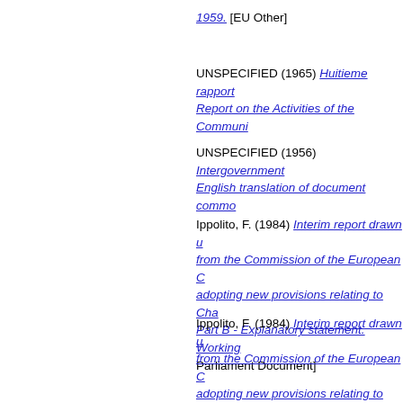1959. [EU Other]
UNSPECIFIED (1965) Huitieme rapport... Report on the Activities of the Communi...
UNSPECIFIED (1956) Intergovernment... English translation of document commo...
Ippolito, F. (1984) Interim report drawn u... from the Commission of the European C... adopting new provisions relating to Cha... Part B - Explanatory statement. Working... Parliament Document]
Ippolito, F. (1984) Interim report drawn u... from the Commission of the European C... adopting new provisions relating to Cha... Part A - Motion for a resolution. Working... Parliament Document]
Finet, Paul and Hirsch, Etienne and Ha... Paul Finet [High Authority of the ECSC]... [Commission of the European Economic...